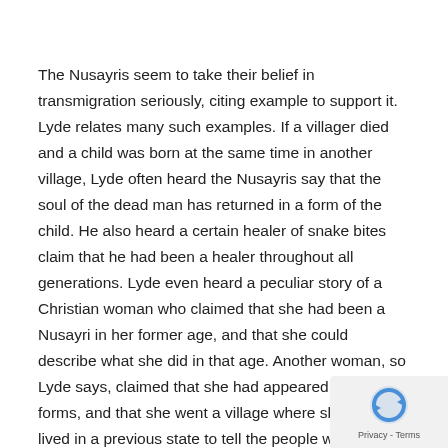The Nusayris seem to take their belief in transmigration seriously, citing example to support it. Lyde relates many such examples. If a villager died and a child was born at the same time in another village, Lyde often heard the Nusayris say that the soul of the dead man has returned in a form of the child. He also heard a certain healer of snake bites claim that he had been a healer throughout all generations. Lyde even heard a peculiar story of a Christian woman who claimed that she had been a Nusayri in her former age, and that she could describe what she did in that age. Another woman, so Lyde says, claimed that she had appeared in seven forms, and that she went a village where she had lived in a previous state to tell the people where to dig for water. The villagers listened to her advice, and when th dug at the spot she pointed out, they found water. Lyde seems to dismiss these anecdotes as lies and fancy.
[Figure (logo): reCAPTCHA privacy badge with rotating arrow icon and Privacy - Terms text]